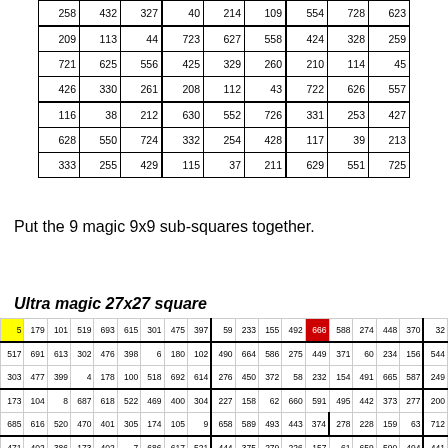| 258 | 432 | 327 | 40 | 214 | 109 | 554 | 728 | 623 |
| 209 | 113 | 44 | 723 | 627 | 558 | 424 | 328 | 259 |
| 721 | 625 | 556 | 425 | 329 | 260 | 210 | 114 | 45 |
| 426 | 330 | 261 | 208 | 112 | 43 | 722 | 626 | 557 |
| 116 | 38 | 212 | 630 | 552 | 726 | 331 | 253 | 427 |
| 628 | 550 | 724 | 332 | 254 | 428 | 117 | 39 | 213 |
| 333 | 255 | 429 | 115 | 37 | 211 | 629 | 551 | 725 |
Put the 9 magic 9x9 sub-squares together.
Ultra magic 27x27 square
| 5 | 179 | 101 | 519 | 693 | 615 | 301 | 475 | 397 | 59 | 233 | 155 | 492 | 666 | 588 | 274 | 448 | 370 | 32 |
| 517 | 691 | 613 | 302 | 476 | 398 | 6 | 180 | 102 | 490 | 664 | 586 | 275 | 449 | 371 | 60 | 234 | 156 | 544 |
| 303 | 477 | 399 | 4 | 178 | 100 | 518 | 692 | 614 | 276 | 450 | 372 | 58 | 232 | 154 | 491 | 665 | 587 | 249 |
| 173 | 104 | 8 | 687 | 618 | 522 | 469 | 400 | 304 | 227 | 158 | 62 | 660 | 591 | 495 | 442 | 373 | 277 | 200 |
| 685 | 616 | 520 | 470 | 401 | 305 | 174 | 105 | 9 | 658 | 589 | 493 | 443 | 374 | 278 | 228 | 159 | 63 | 712 |
| 471 | 402 | 386 | 173 | 402 | 7 | 686 | 617 | 521 | 444 | 375 | 279 | 226 | 157 | 61 | 659 | 590 | 494 | 441 |